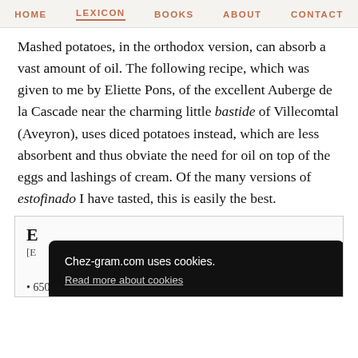HOME  LEXICON  BOOKS  ABOUT  CONTACT
Mashed potatoes, in the orthodox version, can absorb a vast amount of oil. The following recipe, which was given to me by Eliette Pons, of the excellent Auberge de la Cascade near the charming little bastide of Villecomtal (Aveyron), uses diced potatoes instead, which are less absorbent and thus obviate the need for oil on top of the eggs and lashings of cream. Of the many versions of estofinado I have tasted, this is easily the best.
[Figure (screenshot): Cookie consent overlay on a recipe website. Shows text 'Chez-gram.com uses cookies.' with a 'Read more about cookies' link and an 'Understood' green button. Behind the overlay is a partially visible recipe box with a title starting with 'E' and a list item '650g (1lb 7oz) potatoes, peeled'.]